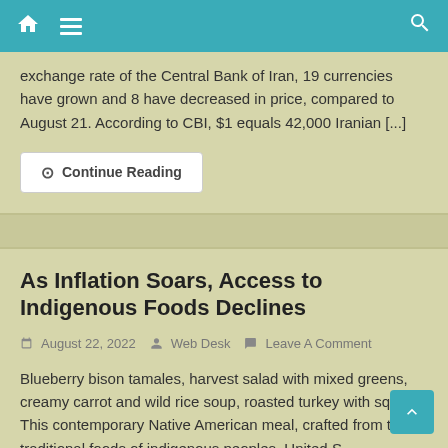Navigation bar with home icon, hamburger menu, and search icon
exchange rate of the Central Bank of Iran, 19 currencies have grown and 8 have decreased in price, compared to August 21. According to CBI, $1 equals 42,000 Iranian [...]
Continue Reading
As Inflation Soars, Access to Indigenous Foods Declines
August 22, 2022  Web Desk  Leave A Comment
Blueberry bison tamales, harvest salad with mixed greens, creamy carrot and wild rice soup, roasted turkey with squash. This contemporary Native American meal, crafted from the traditional foods of indigenous peoples, United States...